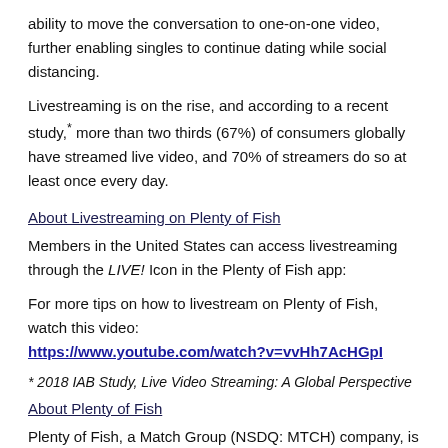ability to move the conversation to one-on-one video, further enabling singles to continue dating while social distancing.
Livestreaming is on the rise, and according to a recent study,* more than two thirds (67%) of consumers globally have streamed live video, and 70% of streamers do so at least once every day.
About Livestreaming on Plenty of Fish
Members in the United States can access livestreaming through the LIVE! Icon in the Plenty of Fish app:
For more tips on how to livestream on Plenty of Fish, watch this video:
https://www.youtube.com/watch?v=vvHh7AcHGpI
* 2018 IAB Study, Live Video Streaming: A Global Perspective
About Plenty of Fish
Plenty of Fish, a Match Group (NSDQ: MTCH) company, is one of the largest global online dating companies, and is available in 11 languages and more than 20 countries. Unlike many dating offerings today, Plenty